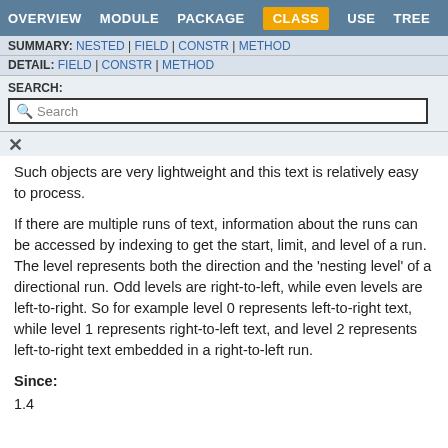OVERVIEW  MODULE  PACKAGE  CLASS  USE  TREE
SUMMARY: NESTED | FIELD | CONSTR | METHOD
DETAIL: FIELD | CONSTR | METHOD
SEARCH:
Such objects are very lightweight and this text is relatively easy to process.
If there are multiple runs of text, information about the runs can be accessed by indexing to get the start, limit, and level of a run. The level represents both the direction and the 'nesting level' of a directional run. Odd levels are right-to-left, while even levels are left-to-right. So for example level 0 represents left-to-right text, while level 1 represents right-to-left text, and level 2 represents left-to-right text embedded in a right-to-left run.
Since:
1.4